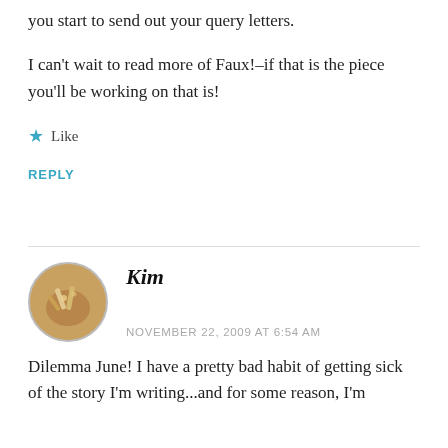you start to send out your query letters.
I can't wait to read more of Faux!–if that is the piece you'll be working on that is!
★ Like
REPLY
Kim
NOVEMBER 22, 2009 AT 6:54 AM
Dilemma June! I have a pretty bad habit of getting sick of the story I'm writing...and for some reason, I'm